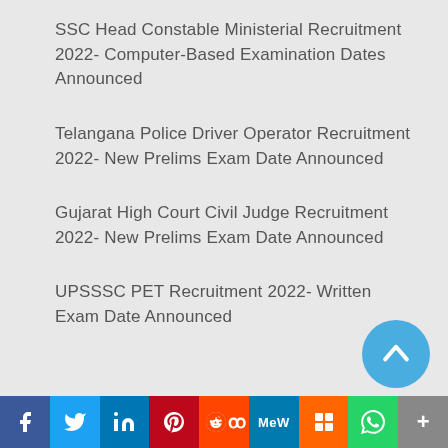SSC Head Constable Ministerial Recruitment 2022- Computer-Based Examination Dates Announced
Telangana Police Driver Operator Recruitment 2022- New Prelims Exam Date Announced
Gujarat High Court Civil Judge Recruitment 2022- New Prelims Exam Date Announced
UPSSSC PET Recruitment 2022- Written Exam Date Announced
[Figure (infographic): Social media sharing bar with Facebook, Twitter, LinkedIn, Pinterest, Reddit, MeWe, Mix, WhatsApp, and More buttons]